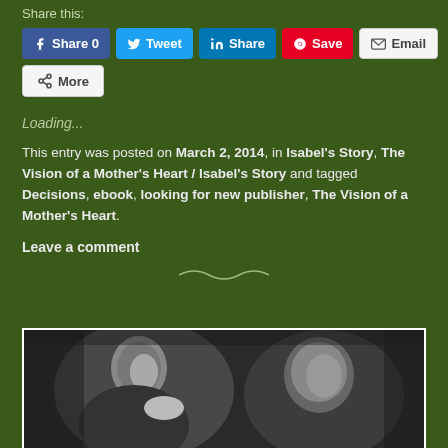Share this:
Facebook Share 0 | Twitter Tweet | LinkedIn Share | Pinterest Save | Email
More
Loading...
This entry was posted on March 2, 2014, in Isabel's Story, The Vision of a Mother's Heart / Isabel's Story and tagged Decisions, ebook, looking for new publisher, The Vision of a Mother's Heart.
Leave a comment
[Figure (photo): Black and white historical photograph showing two people, partially visible at the bottom of the page]